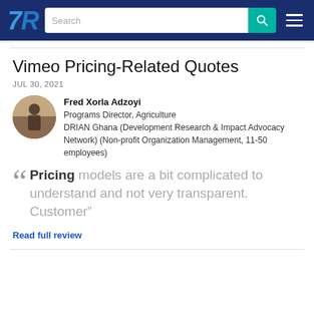TrustRadius navigation bar with logo, search, and menu
Vimeo Pricing-Related Quotes
JUL 30, 2021
Fred Xorla Adzoyi
Programs Director, Agriculture
DRIAN Ghana (Development Research & Impact Advocacy Network) (Non-profit Organization Management, 11-50 employees)
"Pricing models are a bit complicated to understand and not very transparent. Customer"
Read full review